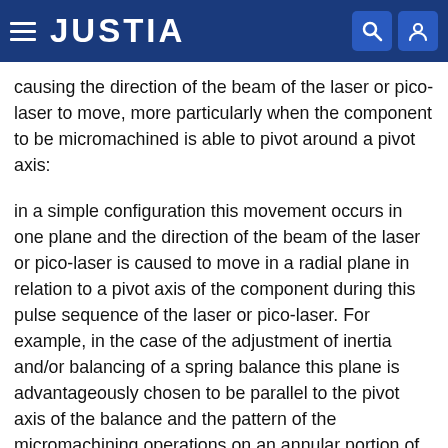JUSTIA
causing the direction of the beam of the laser or pico-laser to move, more particularly when the component to be micromachined is able to pivot around a pivot axis:
in a simple configuration this movement occurs in one plane and the direction of the beam of the laser or pico-laser is caused to move in a radial plane in relation to a pivot axis of the component during this pulse sequence of the laser or pico-laser. For example, in the case of the adjustment of inertia and/or balancing of a spring balance this plane is advantageously chosen to be parallel to the pivot axis of the balance and the pattern of the micromachining operations on an annular portion of the rim, or preferably on studs assigned to this use, thus take the form of a beam of oblique or radial broken lines, which result from the combination of the two movements of the beam and the balance, and